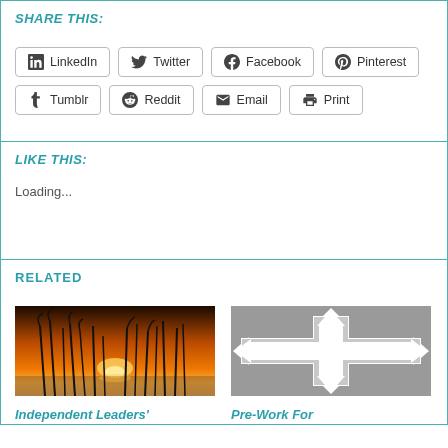SHARE THIS:
LinkedIn
Twitter
Facebook
Pinterest
Tumblr
Reddit
Email
Print
LIKE THIS:
Loading...
RELATED
[Figure (photo): Sunset through reeds/grass silhouettes at a beach]
Independent Leaders'
[Figure (photo): Four-directional arrow sign on grey stony background]
Pre-Work For